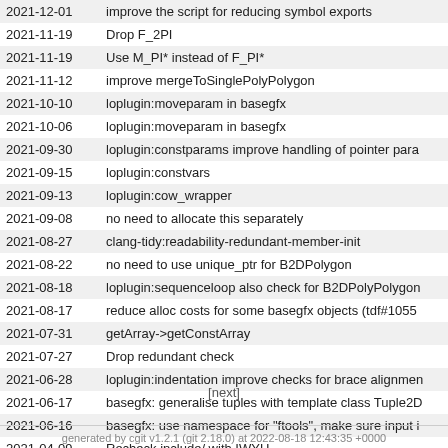| Date | Message |
| --- | --- |
| 2021-12-01 | improve the script for reducing symbol exports |
| 2021-11-19 | Drop F_2PI |
| 2021-11-19 | Use M_PI* instead of F_PI* |
| 2021-11-12 | improve mergeToSinglePolyPolygon |
| 2021-10-10 | loplugin:moveparam in basegfx |
| 2021-10-06 | loplugin:moveparam in basegfx |
| 2021-09-30 | loplugin:constparams improve handling of pointer para |
| 2021-09-15 | loplugin:constvars |
| 2021-09-13 | loplugin:cow_wrapper |
| 2021-09-08 | no need to allocate this separately |
| 2021-08-27 | clang-tidy:readability-redundant-member-init |
| 2021-08-22 | no need to use unique_ptr for B2DPolygon |
| 2021-08-18 | loplugin:sequenceloop also check for B2DPolyPolygon |
| 2021-08-17 | reduce alloc costs for some basegfx objects (tdf#1055 |
| 2021-07-31 | getArray->getConstArray |
| 2021-07-27 | Drop redundant check |
| 2021-06-28 | loplugin:indentation improve checks for brace alignmen |
| 2021-06-17 | basegfx: generalise tuples with template class Tuple2D |
| 2021-06-16 | basegfx: use namespace for "ftools", make sure input i |
| 2021-04-09 | Recheck include/ with IWYU |
[next]
generated by cgit v1.2.1 (git 2.18.0) at 2022-08-18 12:43:35 +0000